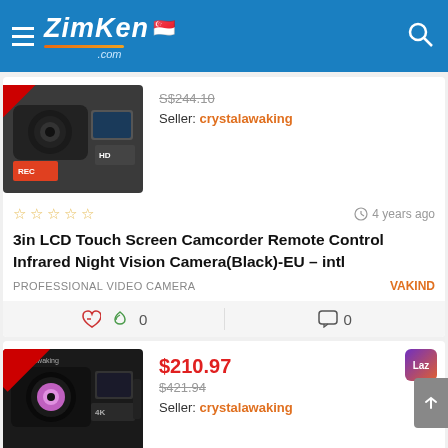[Figure (screenshot): ZimKen.com website header with hamburger menu, logo, Singapore flag, and search icon on blue background]
[Figure (photo): HD camcorder product image with red SALE badge in top-left corner]
Seller: crystalawaking
☆ ☆ ☆ ☆ ☆  4 years ago
3in LCD Touch Screen Camcorder Remote Control Infrared Night Vision Camera(Black)-EU – intl
PROFESSIONAL VIDEO CAMERA   VAKIND
[Figure (photo): 4K camcorder with wide-angle lens, red SALE OFF -50% badge]
$210.97
$421.94
Seller: crystalawaking
☆ ☆ ☆ ☆ ☆  4 years ago